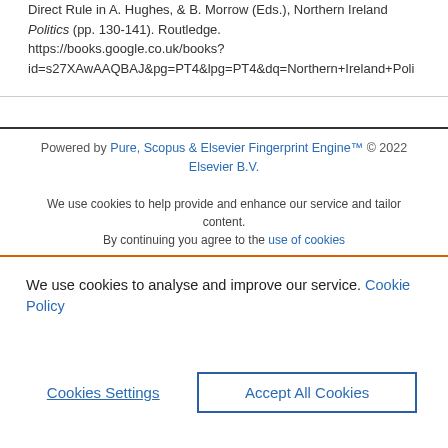Direct Rule in A. Hughes, & B. Morrow (Eds.), Northern Ireland Politics (pp. 130-141). Routledge. https://books.google.co.uk/books?id=s27XAwAAQBAJ&pg=PT4&lpg=PT4&dq=Northern+Ireland+Poli
Powered by Pure, Scopus & Elsevier Fingerprint Engine™ © 2022 Elsevier B.V.
We use cookies to help provide and enhance our service and tailor content. By continuing you agree to the use of cookies
We use cookies to analyse and improve our service. Cookie Policy
Cookies Settings
Accept All Cookies